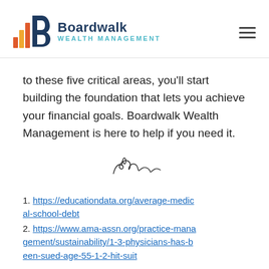Boardwalk Wealth Management
to these five critical areas, you'll start building the foundation that lets you achieve your financial goals. Boardwalk Wealth Management is here to help if you need it.
[Figure (illustration): Handwritten signature]
1. https://educationdata.org/average-medical-school-debt
2. https://www.ama-assn.org/practice-management/sustainability/1-3-physicians-has-been-sued-age-55-1-2-hit-suit